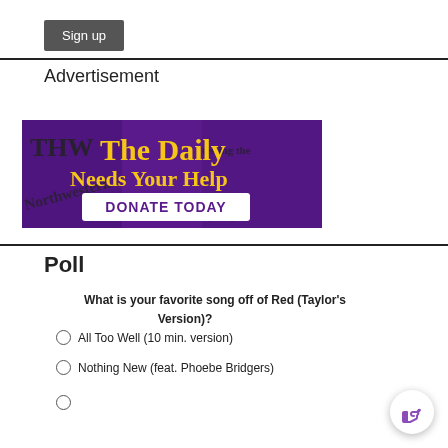Sign up
Advertisement
[Figure (illustration): Advertisement banner for The Daily Northwestern with purple background and newspaper imagery. Text reads 'The Daily Needs Your Help' in yellow/gold lettering with a 'DONATE TODAY' button in white rectangle.]
Poll
What is your favorite song off of Red (Taylor's Version)?
All Too Well (10 min. version)
Nothing New (feat. Phoebe Bridgers)